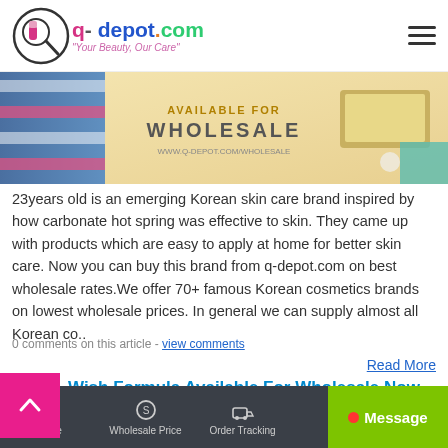q-depot.com – Your Beauty, Our Care
[Figure (photo): Banner image for wholesale section, showing cosmetic/beauty products on a warm background with text referencing wholesale and www.q-depot.com/wholesale]
23years old is an emerging Korean skin care brand inspired by how carbonate hot spring was effective to skin. They came up with products which are easy to apply at home for better skin care. Now you can buy this brand from q-depot.com on best wholesale rates.We offer 70+ famous Korean cosmetics brands on lowest wholesale prices. In general we can supply almost all Korean co..
0 comments on this article - view comments
Read More
Wish Formula Available For Wholesale Now
sted by Kathy Park | On 11.12.2017 | Added in New Brands |
Home | Wholesale Price | Order Tracking | FAQ | Message